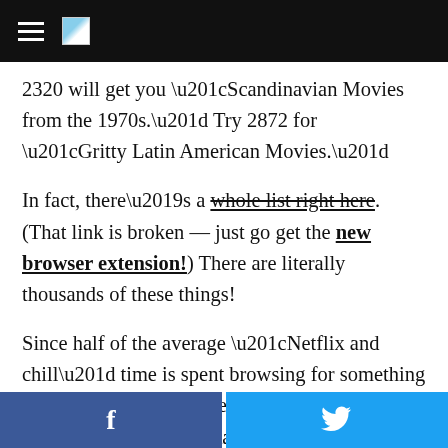[Navigation bar with hamburger menu and logo icon]
2320 will get you “Scandinavian Movies from the 1970s.” Try 2872 for “Gritty Latin American Movies.”
In fact, there’s a whole list right here. (That link is broken — just go get the new browser extension!) There are literally thousands of these things!
Since half of the average “Netflix and chill” time is spent browsing for something to actually watch, maybe this will help those who have very specific tastes. Or maybe it will just lead to more indecision.
[Figure (other): Social sharing buttons: Facebook (blue, f logo) and Twitter (cyan, bird logo)]